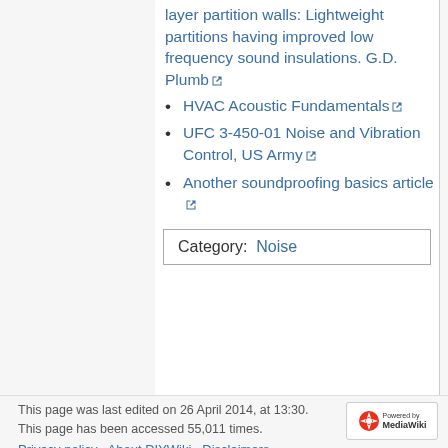layer partition walls: Lightweight partitions having improved low frequency sound insulations. G.D. Plumb
HVAC Acoustic Fundamentals
UFC 3-450-01 Noise and Vibration Control, US Army
Another soundproofing basics article
| Category:  Noise |
This page was last edited on 26 April 2014, at 13:30.
This page has been accessed 55,011 times.
Privacy policy    About DIYWiki    Disclaimers